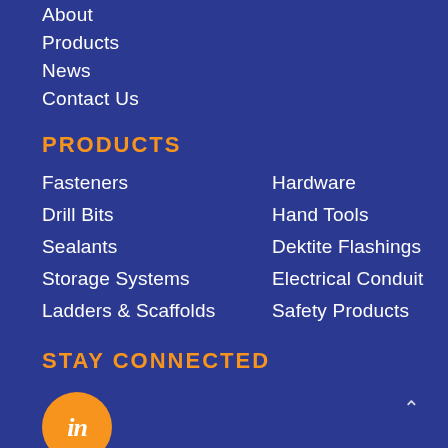About
Products
News
Contact Us
PRODUCTS
Fasteners
Hardware
Drill Bits
Hand Tools
Sealants
Dektite Flashings
Storage Systems
Electrical Conduit
Ladders & Scaffolds
Safety Products
STAY CONNECTED
[Figure (logo): LinkedIn orange circle logo with 'in' text]